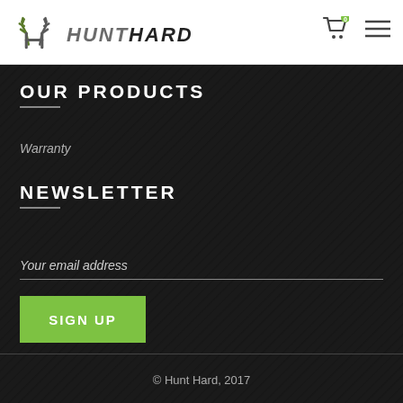[Figure (logo): HuntHard logo with antler icon and stylized text]
OUR PRODUCTS
Warranty
NEWSLETTER
Your email address
SIGN UP
© Hunt Hard, 2017